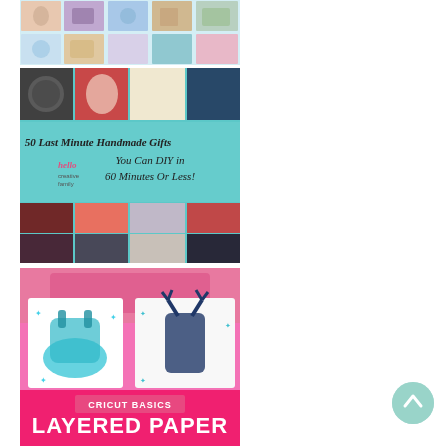[Figure (photo): A collage of DIY craft and gift images arranged in a grid, showing various handmade items including glassware, fabric, and decorative objects.]
[Figure (photo): A collage titled '50 Last Minute Handmade Gifts You Can DIY in 60 Minutes Or Less!' from Hello Creative Family blog. Shows multiple handmade gift items including jars, accessories, and craft projects arranged in a grid with a teal banner center text.]
[Figure (photo): Cricut Basics: Layered Paper tutorial image showing two layered paper shadow box art pieces with animal silhouettes (bear and deer/moose) in teal and blue tones, with a Cricut machine visible. Pink banner at bottom reads 'CRICUT BASICS LAYERED PAPER'.]